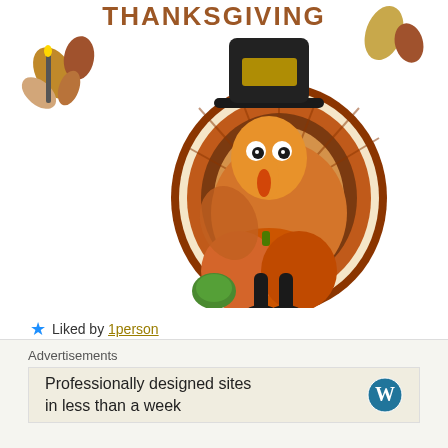[Figure (illustration): Thanksgiving illustration: cartoon turkey wearing a pilgrim hat, holding a pumpkin, surrounded by autumn leaves, pumpkins, and gourds. Partial text 'THANKSGIVING' visible at top.]
★ Liked by 1person
Reply
Advertisements
Professionally designed sites in less than a week